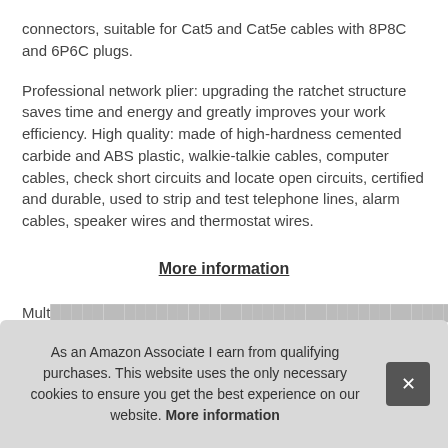connectors, suitable for Cat5 and Cat5e cables with 8P8C and 6P6C plugs.
Professional network plier: upgrading the ratchet structure saves time and energy and greatly improves your work efficiency. High quality: made of high-hardness cemented carbide and ABS plastic, walkie-talkie cables, computer cables, check short circuits and locate open circuits, certified and durable, used to strip and test telephone lines, alarm cables, speaker wires and thermostat wires.
More information
Multi... net... 568... 4, 2... incl...
As an Amazon Associate I earn from qualifying purchases. This website uses the only necessary cookies to ensure you get the best experience on our website. More information